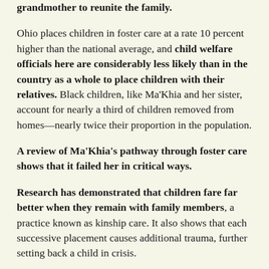grandmother to reunite the family.
Ohio places children in foster care at a rate 10 percent higher than the national average, and child welfare officials here are considerably less likely than in the country as a whole to place children with their relatives. Black children, like Ma’Khia and her sister, account for nearly a third of children removed from homes—nearly twice their proportion in the population.
A review of Ma’Khia’s pathway through foster care shows that it failed her in critical ways.
Research has demonstrated that children fare far better when they remain with family members, a practice known as kinship care. It also shows that each successive placement causes additional trauma, further setting back a child in crisis.
“Everybody knows and the research has proven over and over and over again that the best placement for children is with their kin,” said